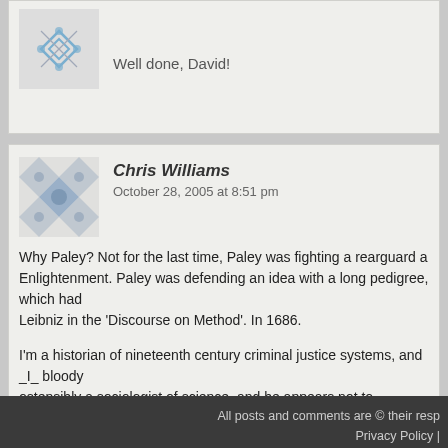Well done, David!
Chris Williams
October 28, 2005 at 8:51 pm
Why Paley? Not for the last time, Paley was fighting a rearguard a… Enlightenment. Paley was defending an idea with a long pedigree, which had… Leibniz in the 'Discourse on Method'. In 1686.
I'm a historian of nineteenth century criminal justice systems, and _I_ bloody… ostensibly a sociologist of science, and he appears not to.
'innovative'.
What a charlatan.
All posts and comments are © their resp…
Privacy Policy |